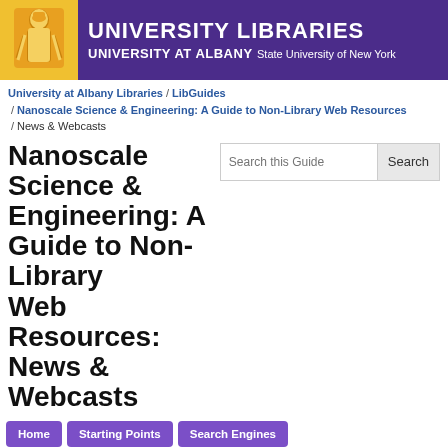[Figure (logo): University at Albany University Libraries purple banner with gold logo figure and white text reading UNIVERSITY LIBRARIES / UNIVERSITY AT ALBANY State University of New York]
University at Albany Libraries / LibGuides / Nanoscale Science & Engineering: A Guide to Non-Library Web Resources / News & Webcasts
Nanoscale Science & Engineering: A Guide to Non-Library Web Resources: News & Webcasts
Home
Starting Points
Search Engines
Academic Programs
Associations
Conferences
Courses & Tutorials
Data Repositories
E-Print Archives & Digital Libraries
Employment
Health & Safety
Images
Journal Abbreviations
Journal Directories
News & Webcasts
Online Books